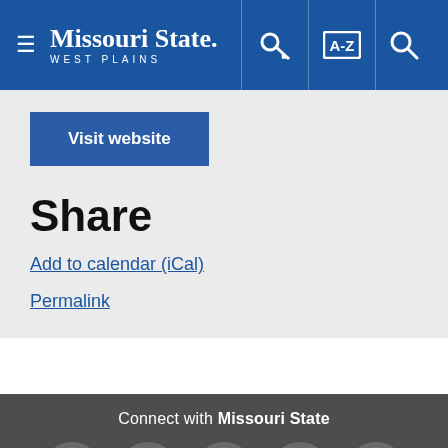Missouri State WEST PLAINS
Visit website
Share
Add to calendar (iCal)
Permalink
Connect with Missouri State